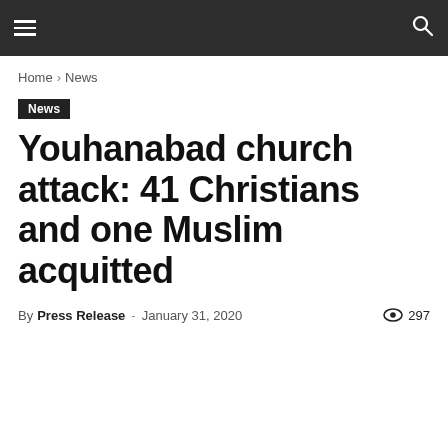≡  🔍
Home › News
News
Youhanabad church attack: 41 Christians and one Muslim acquitted
By Press Release - January 31, 2020  👁 297